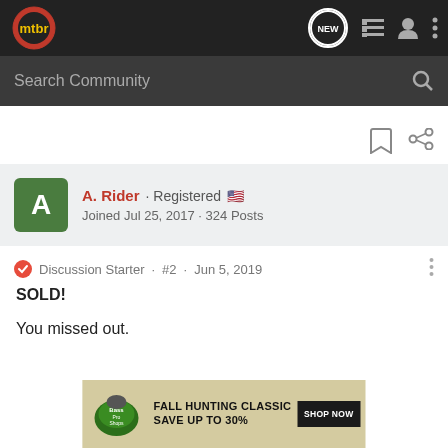[Figure (screenshot): mtbr forum website navigation bar with logo, NEW chat bubble icon, list icon, user icon, and three-dot menu]
[Figure (screenshot): Search Community input bar with magnifying glass icon]
[Figure (screenshot): Bookmark and share icons on white background]
A. Rider · Registered 🇺🇸
Joined Jul 25, 2017 · 324 Posts
Discussion Starter · #2 · Jun 5, 2019
SOLD!
You missed out.
[Figure (photo): Bass Pro Shops advertisement: FALL HUNTING CLASSIC SAVE UP TO 30% SHOP NOW]